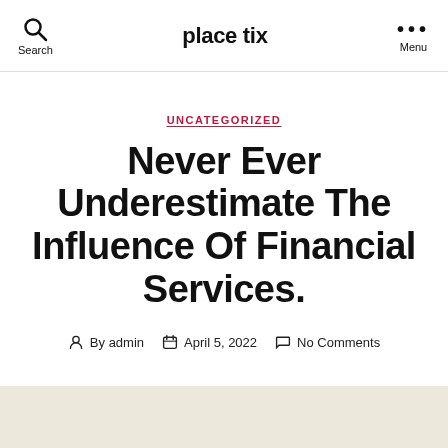place tix
UNCATEGORIZED
Never Ever Underestimate The Influence Of Financial Services.
By admin   April 5, 2022   No Comments